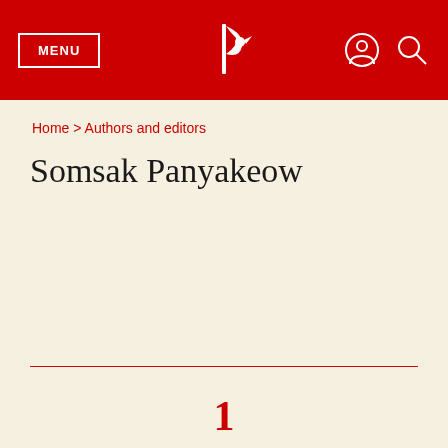[Figure (screenshot): Red navigation header bar with MENU button on left, publisher bird logo in center, user account icon and search icon on right]
Home > Authors and editors
Somsak Panyakeow
1